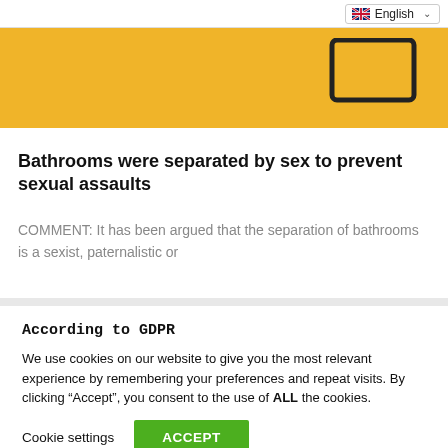English
[Figure (illustration): Yellow banner background with a tablet/device icon outline in the upper right]
Bathrooms were separated by sex to prevent sexual assaults
COMMENT: It has been argued that the separation of bathrooms is a sexist, paternalistic or
According to GDPR
We use cookies on our website to give you the most relevant experience by remembering your preferences and repeat visits. By clicking “Accept”, you consent to the use of ALL the cookies.
Cookie settings   ACCEPT